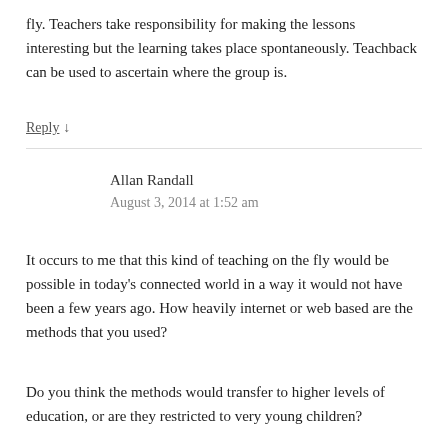fly. Teachers take responsibility for making the lessons interesting but the learning takes place spontaneously. Teachback can be used to ascertain where the group is.
Reply ↓
Allan Randall
August 3, 2014 at 1:52 am
It occurs to me that this kind of teaching on the fly would be possible in today's connected world in a way it would not have been a few years ago. How heavily internet or web based are the methods that you used?
Do you think the methods would transfer to higher levels of education, or are they restricted to very young children?